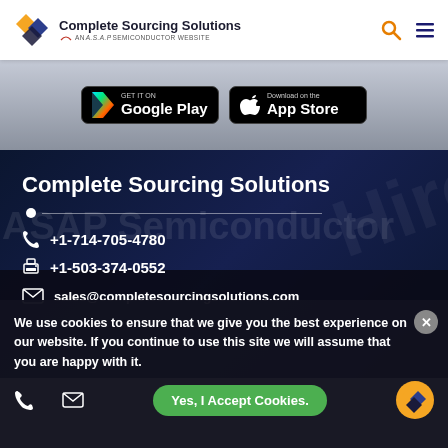Complete Sourcing Solutions — AN A.S.A.P SEMICONDUCTOR WEBSITE
[Figure (screenshot): Google Play and App Store download buttons on a gray gradient background]
Complete Sourcing Solutions
+1-714-705-4780
+1-503-374-0552
sales@completesourcingsolutions.com
We use cookies to ensure that we give you the best experience on our website. If you continue to use this site we will assume that you are happy with it.
Yes, I Accept Cookies.